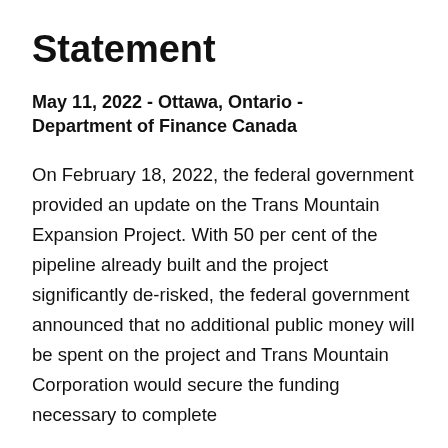Statement
May 11, 2022 - Ottawa, Ontario - Department of Finance Canada
On February 18, 2022, the federal government provided an update on the Trans Mountain Expansion Project. With 50 per cent of the pipeline already built and the project significantly de-risked, the federal government announced that no additional public money will be spent on the project and Trans Mountain Corporation would secure the funding necessary to complete